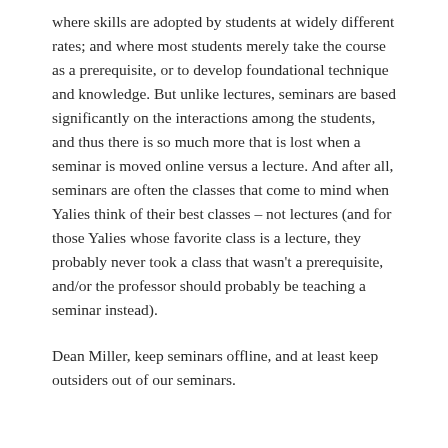where skills are adopted by students at widely different rates; and where most students merely take the course as a prerequisite, or to develop foundational technique and knowledge. But unlike lectures, seminars are based significantly on the interactions among the students, and thus there is so much more that is lost when a seminar is moved online versus a lecture. And after all, seminars are often the classes that come to mind when Yalies think of their best classes – not lectures (and for those Yalies whose favorite class is a lecture, they probably never took a class that wasn't a prerequisite, and/or the professor should probably be teaching a seminar instead).
Dean Miller, keep seminars offline, and at least keep outsiders out of our seminars.